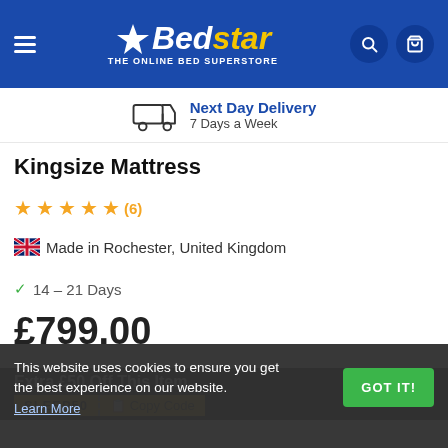Bedstar — THE ONLINE BED SUPERSTORE
Next Day Delivery — 7 Days a Week
Kingsize Mattress
★★★★★ (6)
🇬🇧 Made in Rochester, United Kingdom
✓ 14 – 21 Days
£799.00
Extra £50 Off This Item
SLEEP50  Copy Code
This website uses cookies to ensure you get the best experience on our website. Learn More
GOT IT!